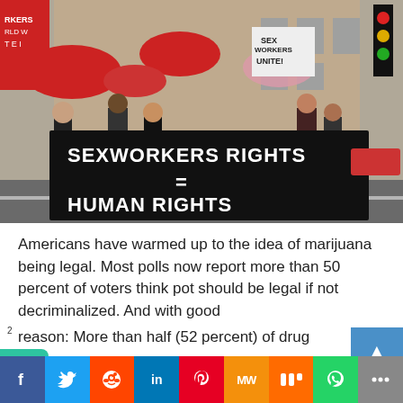[Figure (photo): Protest march with people holding a large black banner reading 'SEXWORKERS RIGHTS = HUMAN RIGHTS'. Protesters carry red umbrellas and signs including 'SEX WORKERS UNITE!'. Urban street setting.]
Americans have warmed up to the idea of marijuana being legal. Most polls now report more than 50 percent of voters think pot should be legal if not decriminalized. And with good reason: More than half (52 percent) of drug